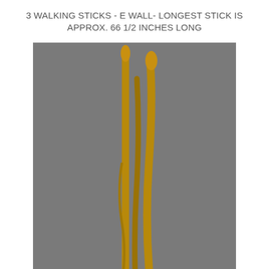3 WALKING STICKS - E WALL- LONGEST STICK IS APPROX. 66 1/2 INCHES LONG
[Figure (photo): Photo of three wooden walking sticks leaning against a grey wall, with a black cat visible at the bottom right corner.]
View details
| High Bid | $ 6 (204) |
| Status | Ended |